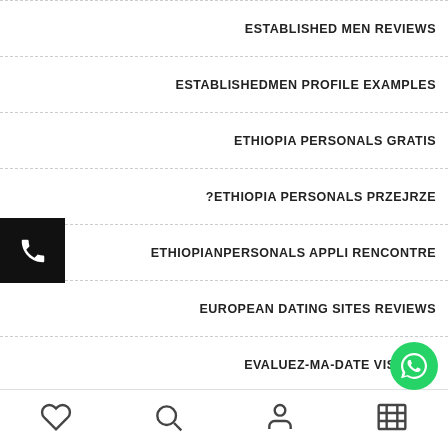ESTABLISHED MEN REVIEWS
ESTABLISHEDMEN PROFILE EXAMPLES
ETHIOPIA PERSONALS GRATIS
?ETHIOPIA PERSONALS PRZEJRZE
ETHIOPIANPERSONALS APPLI RENCONTRE
EUROPEAN DATING SITES REVIEWS
EVALUEZ-MA-DATE VISITORS
EVANSVILLE ESCORT IND